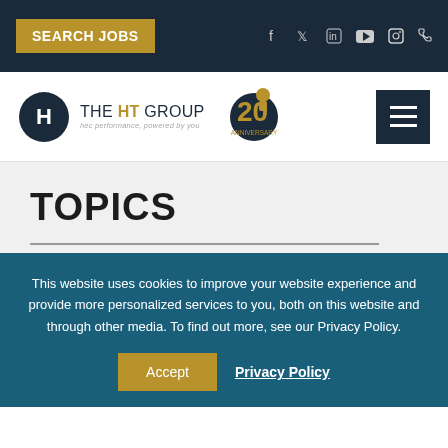SEARCH JOBS
[Figure (logo): The HT Group logo with circular H icon and 20th anniversary badge]
TOPICS
This website uses cookies to improve your website experience and provide more personalized services to you, both on this website and through other media. To find out more, see our Privacy Policy.
Accept   Privacy Policy